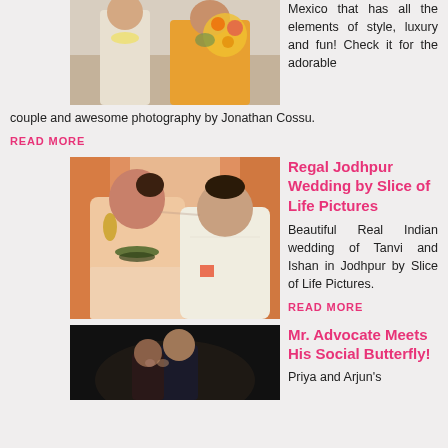[Figure (photo): Indian wedding couple, man in cream sherwani holding garland, woman in yellow/orange lehenga with bouquet]
Mexico that has all the elements of style, luxury and fun! Check it for the adorable couple and awesome photography by Jonathan Cossu.
READ MORE
[Figure (photo): Indian wedding couple, bride in peach embroidered lehenga with jewelry smiling at groom in cream sherwani]
Regal Jodhpur Wedding by Slice of Life Pictures
Beautiful Real Indian wedding of Tanvi and Ishan in Jodhpur by Slice of Life Pictures.
READ MORE
[Figure (photo): Couple in dark setting, man in suit and woman, close together]
Mr. Advocate Meets His Social Butterfly!
Priya and Arjun's